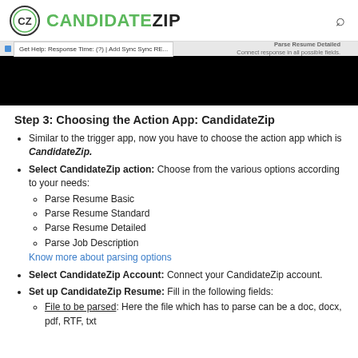CANDIDATEZIP
[Figure (screenshot): Screenshot of CandidateZip interface showing Parse Resume Detailed tab with black content area]
Step 3: Choosing the Action App: CandidateZip
Similar to the trigger app, now you have to choose the action app which is CandidateZip.
Select CandidateZip action: Choose from the various options according to your needs: Parse Resume Basic, Parse Resume Standard, Parse Resume Detailed, Parse Job Description. Know more about parsing options
Select CandidateZip Account: Connect your CandidateZip account.
Set up CandidateZip Resume: Fill in the following fields: File to be parsed: Here the file which has to parse can be a doc, docx, pdf, RTF, txt